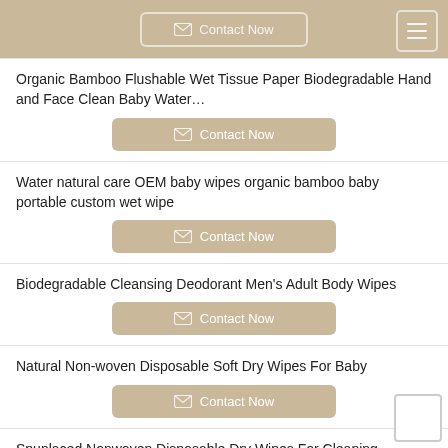Contact Now
Organic Bamboo Flushable Wet Tissue Paper Biodegradable Hand and Face Clean Baby Water…
Contact Now
Water natural care OEM baby wipes organic bamboo baby portable custom wet wipe
Contact Now
Biodegradable Cleansing Deodorant Men's Adult Body Wipes
Contact Now
Natural Non-woven Disposable Soft Dry Wipes For Baby
Contact Now
Spunlaced Nonwoven Disposable Dry Wipes For Cleaning